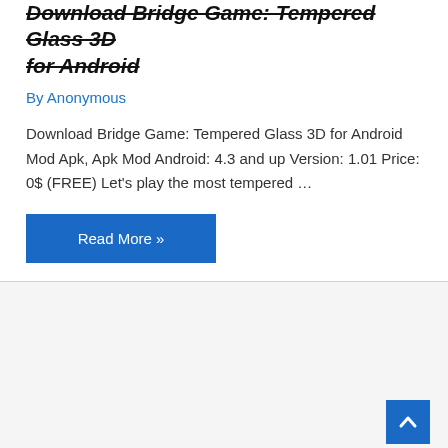Download Bridge Game: Tempered Glass 3D for Android
By Anonymous
Download Bridge Game: Tempered Glass 3D for Android Mod Apk, Apk Mod Android: 4.3 and up Version: 1.01 Price: 0$ (FREE) Let's play the most tempered ...
Read More »